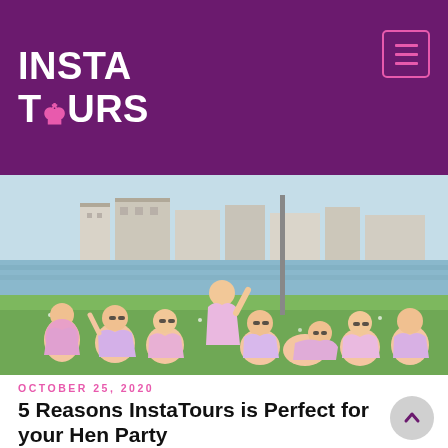INSTA TOURS
[Figure (photo): Group of young women wearing matching tie-dye pink and purple t-shirts, sitting and lying on grass by a waterfront with buildings in the background. Hen party photo taken outdoors in what appears to be Galway, Ireland.]
OCTOBER 25, 2020
5 Reasons InstaTours is Perfect for your Hen Party
e are 5 reasons why you should conside... InstaTours for a bachelorette wherein you